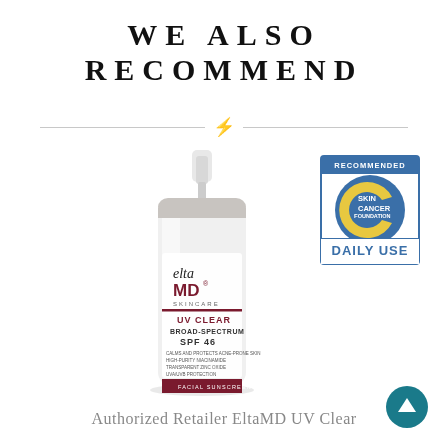WE ALSO RECOMMEND
[Figure (photo): EltaMD UV Clear Broad-Spectrum SPF 46 facial sunscreen product bottle, white pump dispenser with brand label]
[Figure (logo): Skin Cancer Foundation Recommended Daily Use badge/seal]
Authorized Retailer EltaMD UV Clear